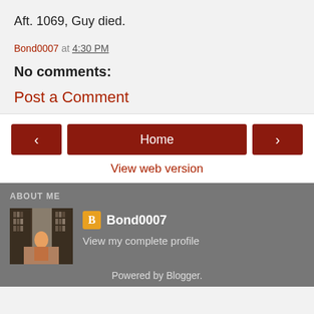Aft. 1069, Guy died.
Bond0007 at 4:30 PM
No comments:
Post a Comment
Home
View web version
ABOUT ME
[Figure (photo): Profile photo showing a library room with bookshelves and a person]
Bond0007
View my complete profile
Powered by Blogger.